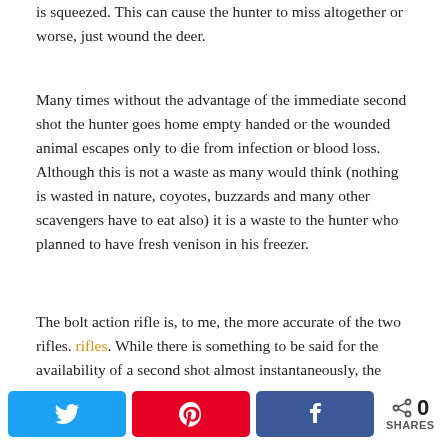is squeezed. This can cause the hunter to miss altogether or worse, just wound the deer.
Many times without the advantage of the immediate second shot the hunter goes home empty handed or the wounded animal escapes only to die from infection or blood loss. Although this is not a waste as many would think (nothing is wasted in nature, coyotes, buzzards and many other scavengers have to eat also) it is a waste to the hunter who planned to have fresh venison in his freezer.
The bolt action rifle is, to me, the more accurate of the two rifles. While there is something to be said for the availability of a second shot almost instantaneously, the actual availability of that second shot will put a false sense of “security” into the mindset of the hunter and thus many first shots are missed because not enough care is taken in making the shot. Even with all of the intangibles I still prefer
[Figure (other): Social sharing bar with Twitter, Pinterest, Facebook buttons and a share count showing 0 SHARES]